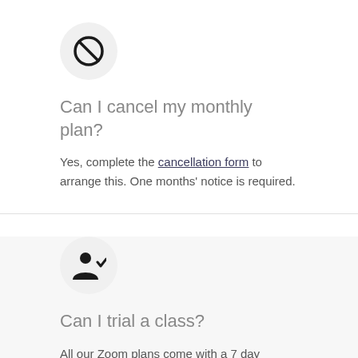[Figure (illustration): Circle icon with a prohibition/cancel symbol (circle with diagonal line through it) on a light grey circular background]
Can I cancel my monthly plan?
Yes, complete the cancellation form to arrange this. One months' notice is required.
[Figure (illustration): Circle icon with a person/user silhouette with a checkmark on a light grey circular background]
Can I trial a class?
All our Zoom plans come with a 7 day money back guarantee, so you can try us for 7 days